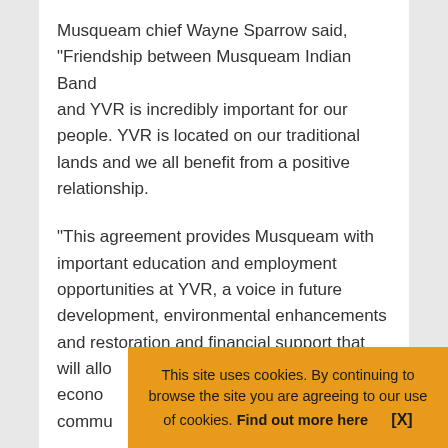Musqueam chief Wayne Sparrow said, “Friendship between Musqueam Indian Band and YVR is incredibly important for our people. YVR is located on our traditional lands and we all benefit from a positive relationship.
“This agreement provides Musqueam with important education and employment opportunities at YVR, a voice in future development, environmental enhancements and restoration and financial support that will allo[ws us to grow our] econo[my and strengthen our] commu[nity]
This site uses cookies. By continuing to browse the site you are agreeing to our use of cookies. Find out more here   [X]